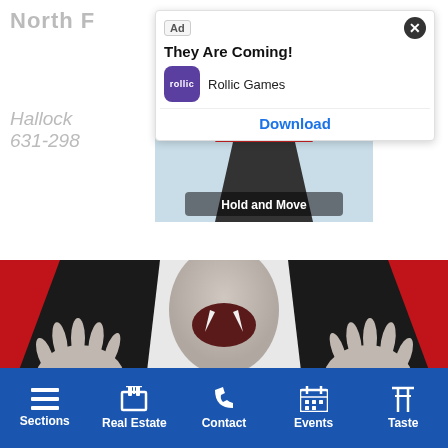North F...
Hallock...thville. 631-298...
[Figure (screenshot): Ad overlay showing 'They Are Coming!' by Rollic Games with a Download button, and a game thumbnail showing a pyramid/road mobile game]
[Figure (photo): Person dressed as a vampire in black and red cape with bow tie, showing fangs and claw hands, reaching toward camera]
Sections | Real Estate | Contact | Events | Taste